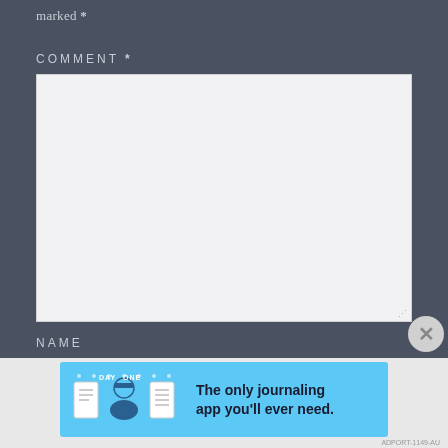marked *
COMMENT *
[Figure (screenshot): Empty comment text area input box with light gray background and resize handle at bottom right]
NAME
[Figure (infographic): Day One app advertisement banner: 'The only journaling app you'll ever need.' on a blue background with app icons]